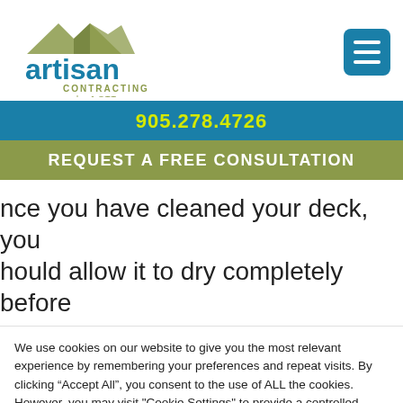[Figure (logo): Artisan Contracting by J.OTT logo with roof/mountain graphic in olive green and teal text]
905.278.4726
REQUEST A FREE CONSULTATION
nce you have cleaned your deck, you hould allow it to dry completely before
We use cookies on our website to give you the most relevant experience by remembering your preferences and repeat visits. By clicking “Accept All”, you consent to the use of ALL the cookies. However, you may visit "Cookie Settings" to provide a controlled consent.
Cookie Settings
Accept All